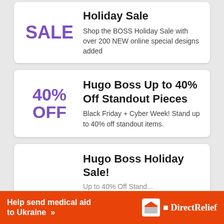Holiday Sale
SALE
Shop the BOSS Holiday Sale with over 200 NEW online special designs added
Hugo Boss Up to 40% Off Standout Pieces
40% OFF
Black Friday + Cyber Week! Stand up to 40% off standout items.
Hugo Boss Holiday Sale!
[Figure (infographic): Orange Direct Relief advertisement banner: 'Help send medical aid to Ukraine >>' with Direct Relief logo]
Help send medical aid to Ukraine >>
DirectRelief